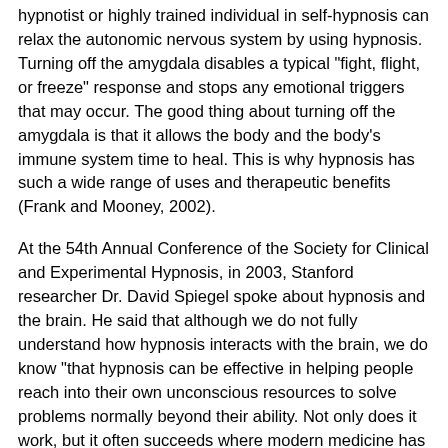hypnotist or highly trained individual in self-hypnosis can relax the autonomic nervous system by using hypnosis. Turning off the amygdala disables a typical "fight, flight, or freeze" response and stops any emotional triggers that may occur. The good thing about turning off the amygdala is that it allows the body and the body's immune system time to heal. This is why hypnosis has such a wide range of uses and therapeutic benefits (Frank and Mooney, 2002).
At the 54th Annual Conference of the Society for Clinical and Experimental Hypnosis, in 2003, Stanford researcher Dr. David Spiegel spoke about hypnosis and the brain. He said that although we do not fully understand how hypnosis interacts with the brain, we do know "that hypnosis can be effective in helping people reach into their own unconscious resources to solve problems normally beyond their ability. Not only does it work, but it often succeeds where modern medicine has failed" (Warren, 2009).
Warren explains how hypnosis affects the amygdala. When someone is in a hypnotic trance the amygdala normally shuts itself off. Both the body and the mind are in a deep state of